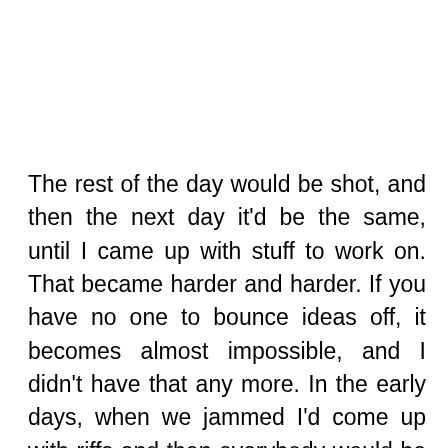The rest of the day would be shot, and then the next day it'd be the same, until I came up with stuff to work on. That became harder and harder. If you have no one to bounce ideas off, it becomes almost impossible, and I didn't have that any more. In the early days, when we jammed I'd come up with riffs and then everybody would be enthusiastic, putting stuff in. We had now reached a point where it was like: 'Oh, we got to do another album', and nobody was motivated